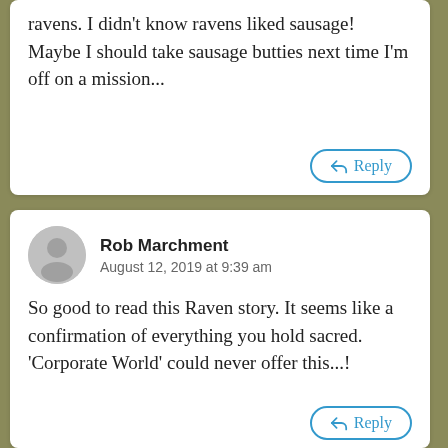ravens. I didn't know ravens liked sausage! Maybe I should take sausage butties next time I'm off on a mission...
Reply
Rob Marchment
August 12, 2019 at 9:39 am
So good to read this Raven story. It seems like a confirmation of everything you hold sacred. 'Corporate World' could never offer this...!
Reply